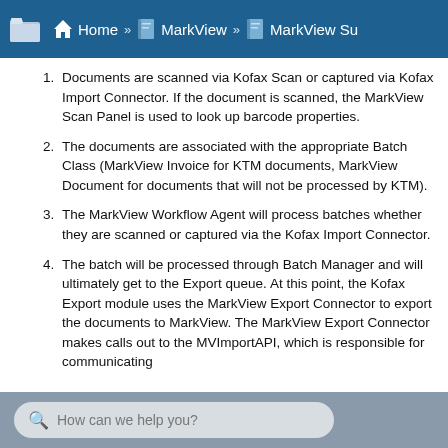Home » MarkView » MarkView Su
Documents are scanned via Kofax Scan or captured via Kofax Import Connector. If the document is scanned, the MarkView Scan Panel is used to look up barcode properties.
The documents are associated with the appropriate Batch Class (MarkView Invoice for KTM documents, MarkView Document for documents that will not be processed by KTM).
The MarkView Workflow Agent will process batches whether they are scanned or captured via the Kofax Import Connector.
The batch will be processed through Batch Manager and will ultimately get to the Export queue. At this point, the Kofax Export module uses the MarkView Export Connector to export the documents to MarkView. The MarkView Export Connector makes calls out to the MVImportAPI, which is responsible for communicating